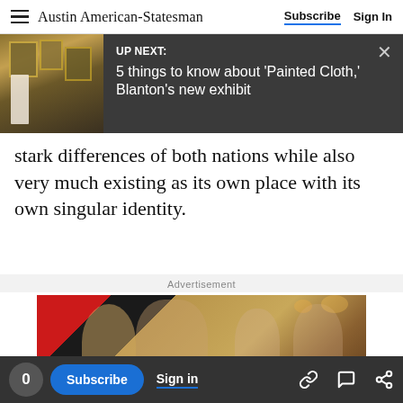Austin American-Statesman — Subscribe | Sign In
[Figure (screenshot): UP NEXT banner with thumbnail of art gallery scene. Text reads: UP NEXT: 5 things to know about 'Painted Cloth,' Blanton's new exhibit]
stark differences of both nations while also very much existing as its own place with its own singular identity.
Advertisement
[Figure (photo): Advertisement photo showing people socializing in a warmly lit venue. Bottom text: RESORTS TO TEXAS WOULD CREATE 70000 NEW JOBS]
0  Subscribe  Sign in  [link icon] [chat icon] [share icon]